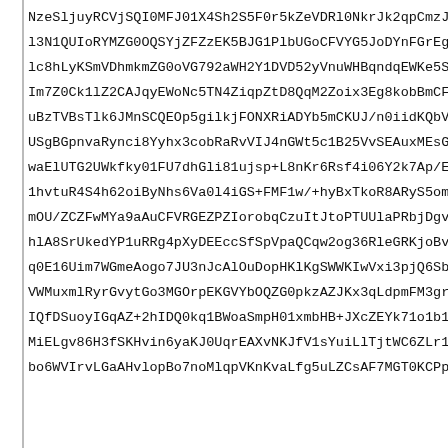NzeSljuyRCVjSQI0MFJ01X4Sh2S5F0r5kZeVDRl0NkrJk2qpCmzJK2A
l3N1QUIoRYMZG0OQSYjZFZzEK5BJG1PlbUGoCFVYG5JoDYnFGrEgDV5
lc8hLyKSmVDhmkmZG0oVG792aWH2Y1DVD52yVnuWHBqndqEWKe5STkE
Im7Z0Ck1lZ2CAJqyEWoNc5TN4ZiqpZtD8QqM2Zoix3Eg8kobBmCFoh4
uBzTVBsTlk6JMnSCQEOp5gilkjFONXRiADYb5mCKUJ/n0iidKQbVqJ4
USgBGpnvaRynci8Yyhx3cobRaRvVIJ4nGWt5c1B25VvSEAuxMEsGg1k
waElUTG2UWkfky01FU7dhGli81ujsp+L8nKr6Rsf4i06Y2k7Ap/EdCv
1hvtuR4S4h62oiByNhs6Va0l4iGS+FMF1w/+hyBxTkoR8ARyS5omSXp
mOU/ZCZFwMYa9aAuCFVRGEZPZIorobqCzuItJtoPTUUlaPRbjDgvpnR
hlA8SrUkedYP1uRRg4pXyDEEccSfSpVpaQCqw2og36RleGRKjoBv5Fl
q0E16Uim7WGmeAogo7JU3nJcAlOuDopHKlKgSWWKIwVxi3pjQ6SbKui
VWMuxmlRyrGvytGo3MGOrpEKGVYbOQZG0pkzAZJKx3qLdpmFM3grxIg
IQfDSuoyIGqAZ+2hIDQ0kq1BWoaSmpH01xmbHB+JXcZEYk71o1b1X7v
MiELgv86H3fSKHvin6yaKJ0UqrEAXvNKJfV1sYuiLlTjtWC6ZLr1JHt
bo6WVIrvLGaAHvlopBo7noMlqpVKnKvaLfg5uLZCsAF7MGT0KCPpCo0